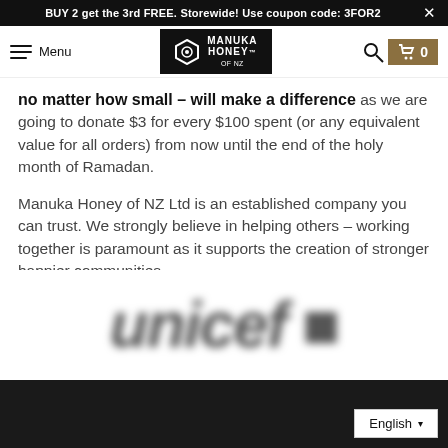BUY 2 get the 3rd FREE. Storewide! Use coupon code: 3FOR2
[Figure (logo): Manuka Honey of NZ logo in black box with hexagon icon]
no matter how small – will make a difference as we are going to donate $3 for every $100 spent (or any equivalent value for all orders) from now until the end of the holy month of Ramadan.
Manuka Honey of NZ Ltd is an established company you can trust. We strongly believe in helping others – working together is paramount as it supports the creation of stronger happier communities.
[Figure (logo): UNICEF logo appearing blurred, with a dark image below]
English